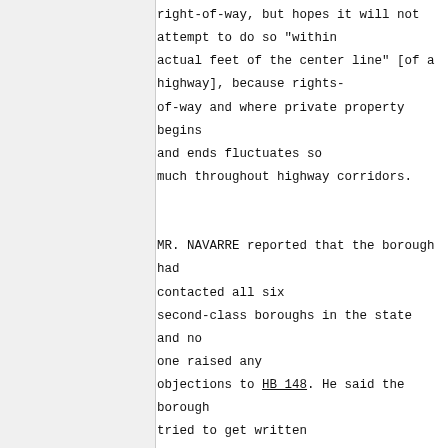right-of-way, but hopes it will not attempt to do so "within actual feet of the center line" [of a highway], because rights-of-way and where private property begins and ends fluctuates so much throughout highway corridors.

MR. NAVARRE reported that the borough had contacted all six second-class boroughs in the state and no one raised any objections to HB 148. He said the borough tried to get written statements, but there was not much time between the last meeting and today's meeting. He said the highway service area is a moot